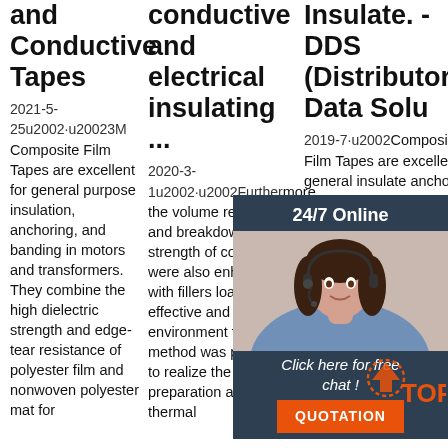and Conductive Tapes
conductive and electrical insulating ...
Insulate. - DDS (Distributor Data Solu
2021-5-25u2002·u20023M Composite Film Tapes are excellent for general purpose insulation, anchoring, and banding in motors and transformers. They combine the high dielectric strength and edge-tear resistance of polyester film and nonwoven polyester mat for
2020-3-1u2002·u2002Furthermore, the volume resistance and breakdown strength of composites were also enhanced with fillers loading. An effective and environment friendly method was proposed to realize the BNNS preparation and the thermal
2019-7·u2002Composite Film Tapes are excellent for general purpose insulation, anchoring, and banding in motors and transformers. They combine the high dielectric strength and edge-tear resistance of polyester film and
[Figure (photo): Chat widget overlay showing a woman with headset, '24/7 Online' header, 'Click here for free chat!' text, and orange QUOTATION button]
[Figure (logo): TOP icon with orange dotted house/arrow shape and orange TOP text]